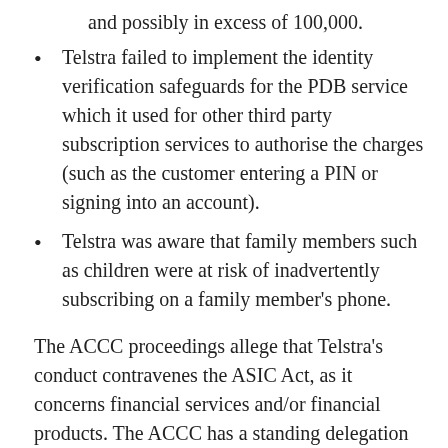and possibly in excess of 100,000.
Telstra failed to implement the identity verification safeguards for the PDB service which it used for other third party subscription services to authorise the charges (such as the customer entering a PIN or signing into an account).
Telstra was aware that family members such as children were at risk of inadvertently subscribing on a family member's phone.
The ACCC proceedings allege that Telstra's conduct contravenes the ASIC Act, as it concerns financial services and/or financial products. The ACCC has a standing delegation of certain of ASIC powers and functions for the purposes of investigation and commencement and conduct of any proceedings in relation to matters involving financial products and services provided as part of, or in connection with, the